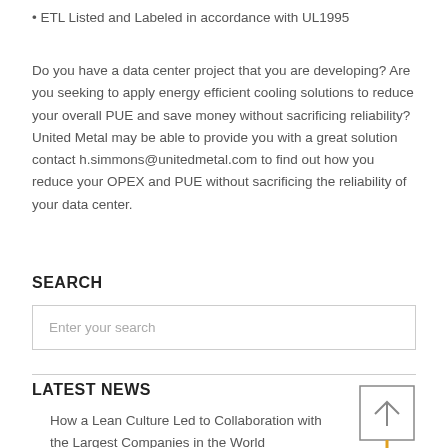• ETL Listed and Labeled in accordance with UL1995
Do you have a data center project that you are developing? Are you seeking to apply energy efficient cooling solutions to reduce your overall PUE and save money without sacrificing reliability? United Metal may be able to provide you with a great solution contact h.simmons@unitedmetal.com to find out how you reduce your OPEX and PUE without sacrificing the reliability of your data center.
SEARCH
Enter your search
LATEST NEWS
How a Lean Culture Led to Collaboration with the Largest Companies in the World